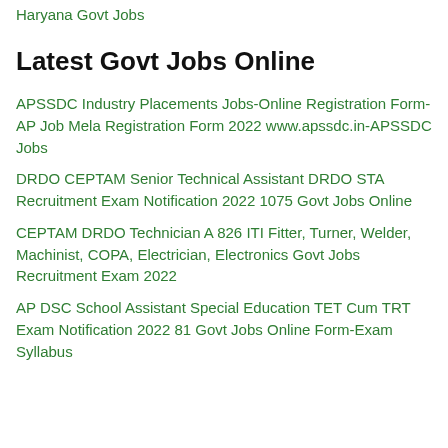Haryana Govt Jobs
Latest Govt Jobs Online
APSSDC Industry Placements Jobs-Online Registration Form-AP Job Mela Registration Form 2022 www.apssdc.in-APSSDC Jobs
DRDO CEPTAM Senior Technical Assistant DRDO STA Recruitment Exam Notification 2022 1075 Govt Jobs Online
CEPTAM DRDO Technician A 826 ITI Fitter, Turner, Welder, Machinist, COPA, Electrician, Electronics Govt Jobs Recruitment Exam 2022
AP DSC School Assistant Special Education TET Cum TRT Exam Notification 2022 81 Govt Jobs Online Form-Exam Syllabus